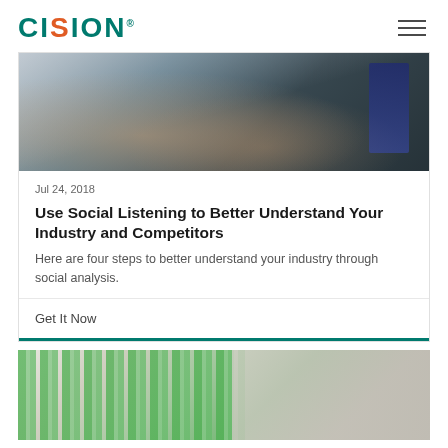CISION
[Figure (photo): Person in business suit typing on laptop, city view in background]
Jul 24, 2018
Use Social Listening to Better Understand Your Industry and Competitors
Here are four steps to better understand your industry through social analysis.
Get It Now
[Figure (photo): Tablet showing bar charts with green bars, clipboard and keyboard on desk]